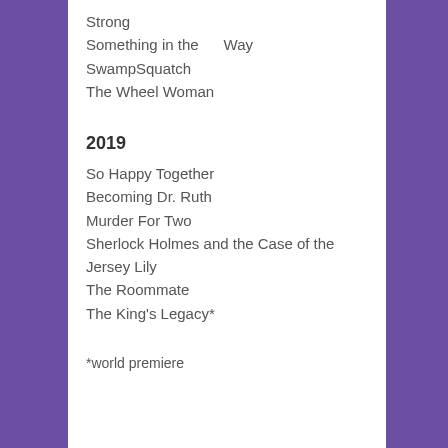Strong
Something in the     Way
SwampSquatch
The Wheel Woman
2019
So Happy Together
Becoming Dr. Ruth
Murder For Two
Sherlock Holmes and the Case of the Jersey Lily
The Roommate
The King's Legacy*
*world premiere